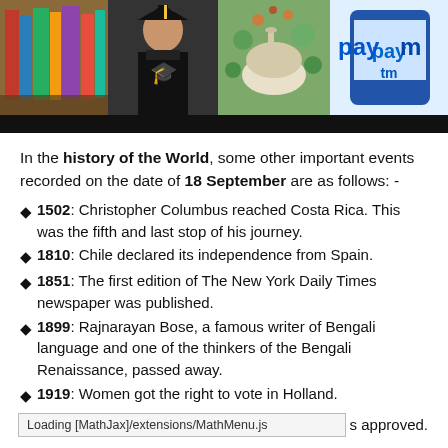[Figure (photo): Banner with four panels: books/bookstore, person in graduation gown, herbs/mortar and pestle, Paytm logo on phone]
In the history of the World, some other important events recorded on the date of 18 September are as follows: -
1502: Christopher Columbus reached Costa Rica. This was the fifth and last stop of his journey.
1810: Chile declared its independence from Spain.
1851: The first edition of The New York Daily Times newspaper was published.
1899: Rajnarayan Bose, a famous writer of Bengali language and one of the thinkers of the Bengali Renaissance, passed away.
1919: Women got the right to vote in Holland.
s approved.
Loading [MathJax]/extensions/MathMenu.js